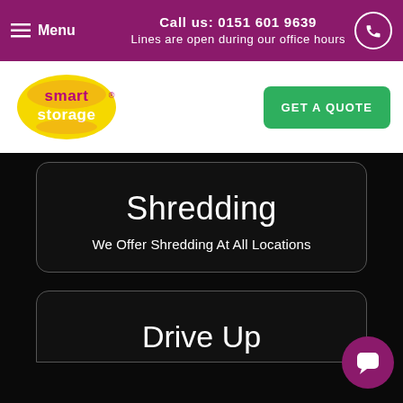Menu | Call us: 0151 601 9639 | Lines are open during our office hours
[Figure (logo): Smart Storage logo — yellow oval with pink/white 'smart storage' text]
GET A QUOTE
Shredding
We Offer Shredding At All Locations
Drive Up